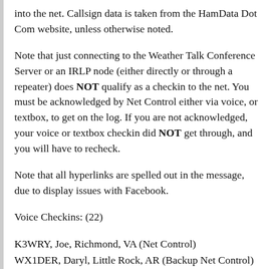into the net. Callsign data is taken from the HamData Dot Com website, unless otherwise noted.
Note that just connecting to the Weather Talk Conference Server or an IRLP node (either directly or through a repeater) does NOT qualify as a checkin to the net. You must be acknowledged by Net Control either via voice, or textbox, to get on the log. If you are not acknowledged, your voice or textbox checkin did NOT get through, and you will have to recheck.
Note that all hyperlinks are spelled out in the message, due to display issues with Facebook.
Voice Checkins: (22)
K3WRY, Joe, Richmond, VA (Net Control)
WX1DER, Daryl, Little Rock, AR (Backup Net Control)
KD1CY, Rob, New Bedford, MA (Net Management)
KC5FM, Lloyd, Altus, OK (Net Management)
VE1MBR, Rick, Fall River, Nova Scotia, CN (Con War...)